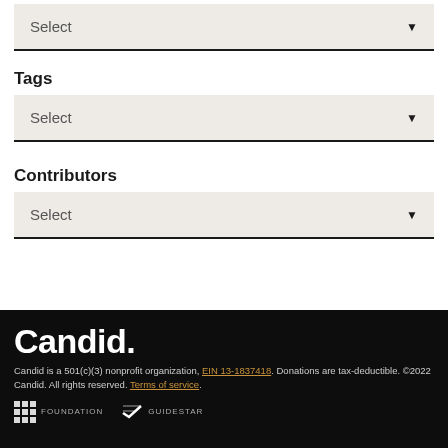[Figure (screenshot): A dropdown select box with 'Select' placeholder text and down arrow, at the top of the page]
Tags
[Figure (screenshot): A dropdown select box labeled 'Select' with down arrow for Tags]
Contributors
[Figure (screenshot): A dropdown select box labeled 'Select' with down arrow for Contributors]
Candid. Candid is a 501(c)(3) nonprofit organization, EIN 13-1837418. Donations are tax-deductible. ©2022 Candid. All rights reserved. Terms of service.